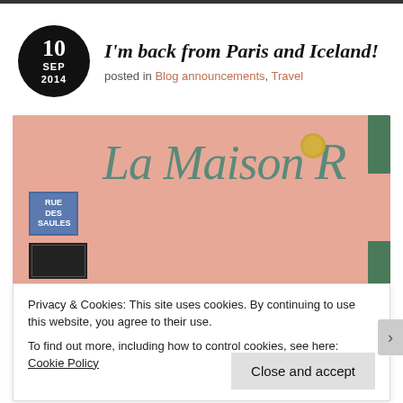I'm back from Paris and Iceland!
posted in Blog announcements, Travel
[Figure (photo): Pink wall of La Maison building with green cursive sign text reading 'La Maison R', a blue street sign reading 'RUE DES SAULES', a dark plaque, a gold lamp, and green shutters.]
Privacy & Cookies: This site uses cookies. By continuing to use this website, you agree to their use.
To find out more, including how to control cookies, see here: Cookie Policy
Close and accept